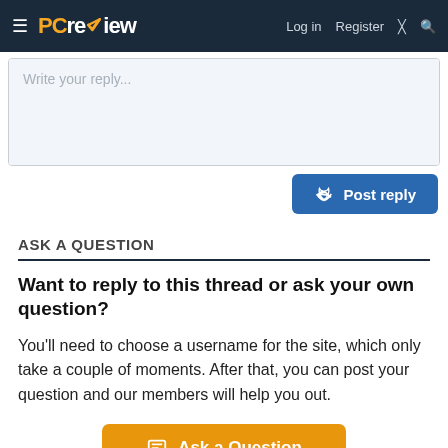PCreview – Log in  Register
Write your reply...
Post reply
ASK A QUESTION
Want to reply to this thread or ask your own question?
You'll need to choose a username for the site, which only take a couple of moments. After that, you can post your question and our members will help you out.
Ask a Question